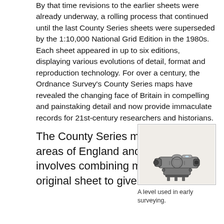By that time revisions to the earlier sheets were already underway, a rolling process that continued until the last County Series sheets were superseded by the 1:10,000 National Grid Edition in the 1980s. Each sheet appeared in up to six editions, displaying various evolutions of detail, format and reproduction technology. For over a century, the Ordnance Survey's County Series maps have revealed the changing face of Britain in compelling and painstaking detail and now provide immaculate records for 21st-century researchers and historians.
The County Series maps most areas of England and Wales. This involves combining more than one original sheet to give an
[Figure (illustration): A black and white illustration of a surveying level instrument used in early surveying.]
A level used in early surveying.